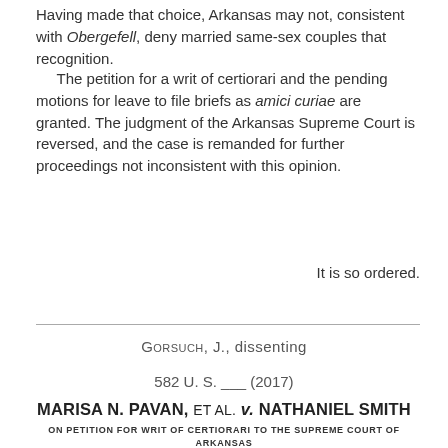Having made that choice, Arkansas may not, consistent with Obergefell, deny married same-sex couples that recognition.
The petition for a writ of certiorari and the pending motions for leave to file briefs as amici curiae are granted. The judgment of the Arkansas Supreme Court is reversed, and the case is remanded for further proceedings not inconsistent with this opinion.
It is so ordered.
GORSUCH, J., dissenting
582 U. S. ___ (2017)
MARISA N. PAVAN, ET AL. v. NATHANIEL SMITH
ON PETITION FOR WRIT OF CERTIORARI TO THE SUPREME COURT OF ARKANSAS